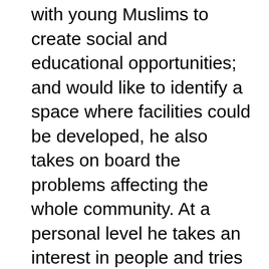with young Muslims to create social and educational opportunities; and would like to identify a space where facilities could be developed, he also takes on board the problems affecting the whole community. At a personal level he takes an interest in people and tries to help them tackle the wide range of problems they encounter. When you meet him you get the feeling that he must bring a lot of emphathy and compassion to this task.
He has many educational qualifications